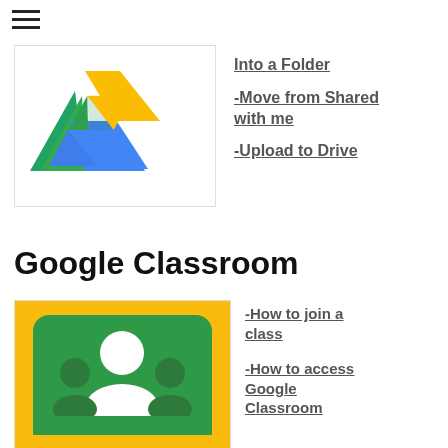[Figure (logo): Google Drive logo - colorful triangular icon with green, blue, and yellow segments]
-Into a Folder
-Move from Shared with me
-Upload to Drive
Google Classroom
[Figure (logo): Google Classroom logo - green card with white student/teacher icon on yellow background]
-How to join a class
-How to access Google Classroom